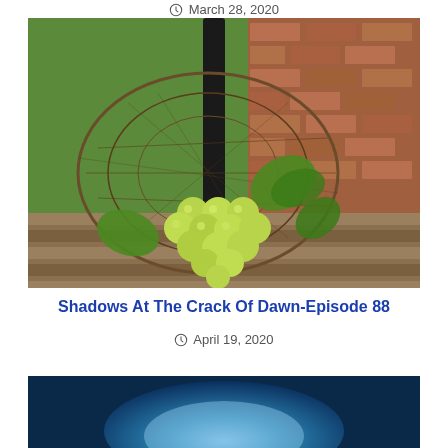March 28, 2020
[Figure (photo): A wire basket containing green grapes with vine leaves, resting on a wooden bench against a brick wall background.]
Shadows At The Crack Of Dawn-Episode 88
April 19, 2020
[Figure (photo): Partial view of a blue-toned image, likely the top portion of a next article's thumbnail.]